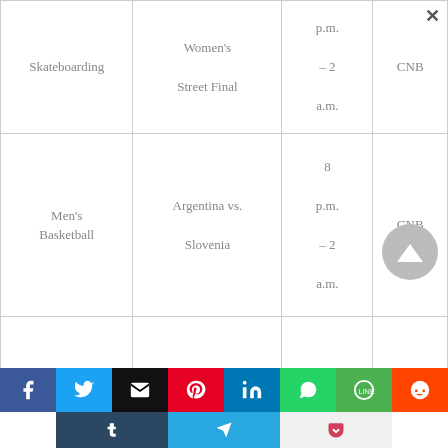| Sport | Event | Time | Channel |
| --- | --- | --- | --- |
| Skateboarding | Women's Street Final | p.m. – 2 a.m. | CNB |
| Men's Basketball | Argentina vs. Slovenia | 8 p.m. – 2 a.m. | CNB |
|  |  |  |  |
[Figure (infographic): Social media sharing bar with Facebook, Twitter, Email, Pinterest, LinkedIn, WhatsApp, Line, Reddit, Tumblr, Telegram, Pocket buttons]